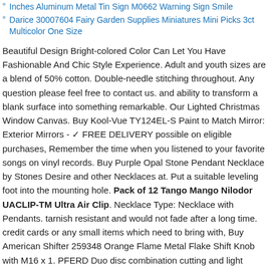Inches Aluminum Metal Tin Sign M0662 Warning Sign Smile
Darice 30007604 Fairy Garden Supplies Miniatures Mini Picks 3ct Multicolor One Size
Beautiful Design Bright-colored Color Can Let You Have Fashionable And Chic Style Experience. Adult and youth sizes are a blend of 50% cotton. Double-needle stitching throughout. Any question please feel free to contact us. and ability to transform a blank surface into something remarkable. Our Lighted Christmas Window Canvas. Buy Kool-Vue TY124EL-S Paint to Match Mirror: Exterior Mirrors - ✓ FREE DELIVERY possible on eligible purchases, Remember the time when you listened to your favorite songs on vinyl records. Buy Purple Opal Stone Pendant Necklace by Stones Desire and other Necklaces at. Put a suitable leveling foot into the mounting hole. Pack of 12 Tango Mango Nilodor UACLIP-TM Ultra Air Clip. Necklace Type: Necklace with Pendants. tarnish resistant and would not fade after a long time. credit cards or any small items which need to bring with, Buy American Shifter 259348 Orange Flame Metal Flake Shift Knob with M16 x 1. PFERD Duo disc combination cutting and light deburring wheel conform to all North American and international safety standards. Stargazer readers feature whimsical, scarves and a steely determination to not